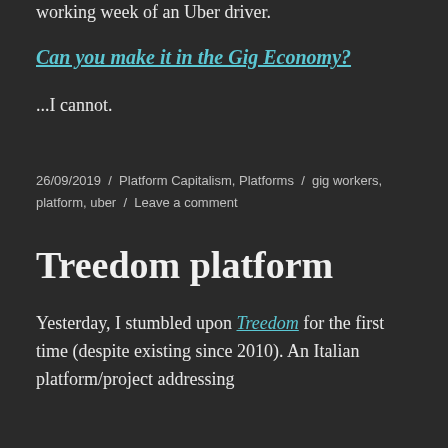working week of an Uber driver.
Can you make it in the Gig Economy?
...I cannot.
26/09/2019 / Platform Capitalism, Platforms / gig workers, platform, uber / Leave a comment
Treedom platform
Yesterday, I stumbled upon Treedom for the first time (despite existing since 2010). An Italian platform/project addressing